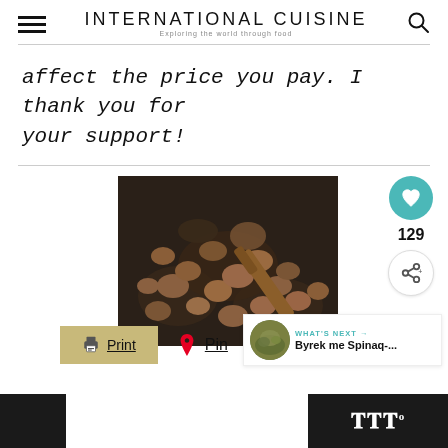INTERNATIONAL CUISINE
affect the price you pay. I thank you for your support!
[Figure (photo): Food cooking in a pan with a wooden spatula, showing browned meat pieces being sautéed in a dark skillet.]
Print
Pin
129
WHAT'S NEXT → Byrek me Spinaq-...